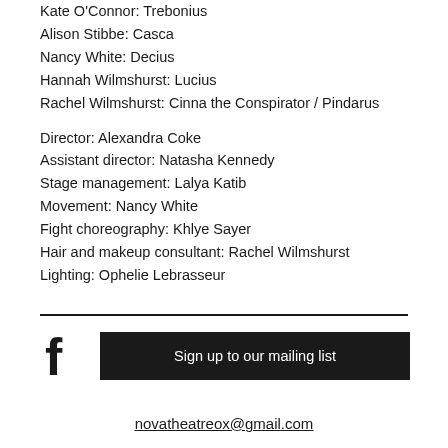Kate O'Connor: Trebonius
Alison Stibbe: Casca
Nancy White: Decius
Hannah Wilmshurst: Lucius
Rachel Wilmshurst: Cinna the Conspirator / Pindarus
Director: Alexandra Coke
Assistant director: Natasha Kennedy
Stage management: Lalya Katib
Movement: Nancy White
Fight choreography: Khlye Sayer
Hair and makeup consultant: Rachel Wilmshurst
Lighting: Ophelie Lebrasseur
[Figure (other): Facebook logo icon (f)]
Sign up to our mailing list
novatheatreox@gmail.com